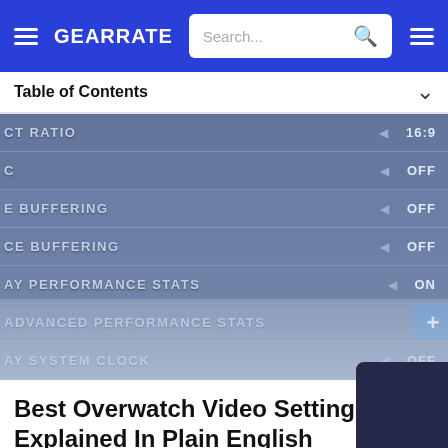GEARRATE — Search bar header
Table of Contents
[Figure (screenshot): Screenshot of Overwatch video settings menu showing rows: CT RATIO (16:9), (OFF), E BUFFERING (OFF), CE BUFFERING (OFF), AY PERFORMANCE STATS (ON), ADVANCED PERFORMANCE STATS (+), AY SYSTEM CLOCK (OFF), FPS (CUSTOM), H RATE CAP (800), PHICS QUALITY (LOW), ADVANCED (+)]
Best Overwatch Video Settings: Explained In Plain English